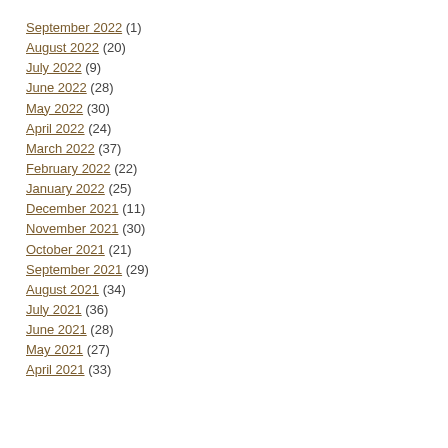September 2022 (1)
August 2022 (20)
July 2022 (9)
June 2022 (28)
May 2022 (30)
April 2022 (24)
March 2022 (37)
February 2022 (22)
January 2022 (25)
December 2021 (11)
November 2021 (30)
October 2021 (21)
September 2021 (29)
August 2021 (34)
July 2021 (36)
June 2021 (28)
May 2021 (27)
April 2021 (33)